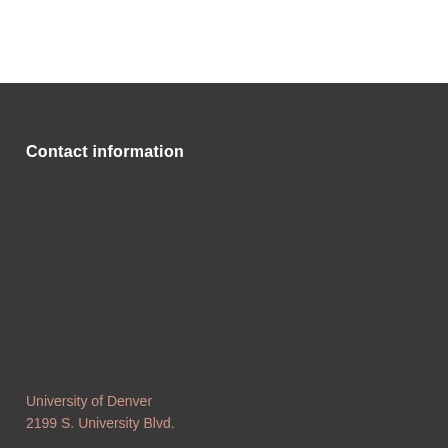Contact information
University of Denver
2199 S. University Blvd.